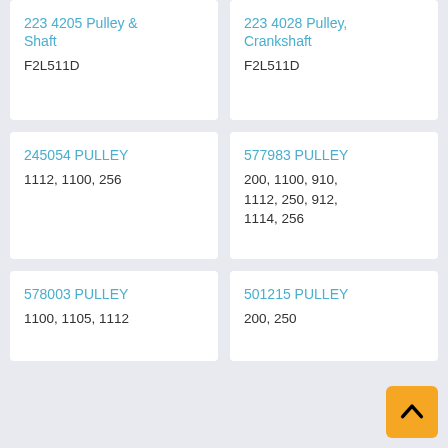223 4205 Pulley & Shaft
F2L511D
223 4028 Pulley, Crankshaft
F2L511D
245054 PULLEY
1112, 1100, 256
577983 PULLEY
200, 1100, 910, 1112, 250, 912, 1114, 256
578003 PULLEY
1100, 1105, 1112
501215 PULLEY
200, 250